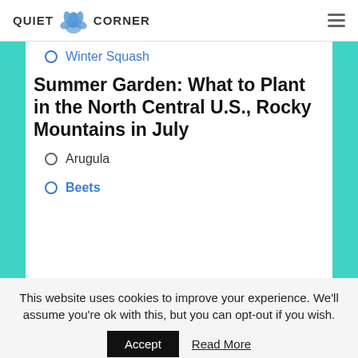QUIET CORNER
Winter Squash
Summer Garden: What to Plant in the North Central U.S., Rocky Mountains in July
Arugula
Beets
This website uses cookies to improve your experience. We'll assume you're ok with this, but you can opt-out if you wish.
Accept  Read More